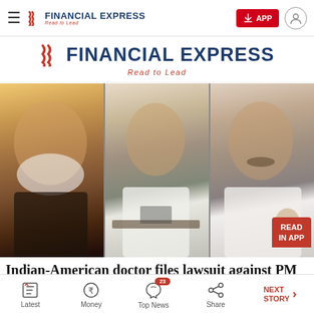FINANCIAL EXPRESS | Read to Lead | APP
FINANCIAL EXPRESS
Read to Lead
[Figure (photo): Three-panel composite photo showing (left) Prime Minister Narendra Modi in dark attire, (center) a government official in white shirt seated at a desk, (right) Gautam Adani in white shirt gesturing with hands]
Indian-American doctor files lawsuit against PM
Latest | Money | Top News (23) | Share | NEXT STORY